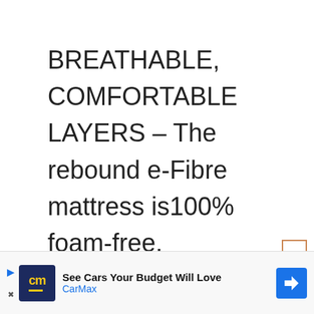BREATHABLE, COMFORTABLE LAYERS – The rebound e-Fibre mattress is100% foam-free.

J-TEX SPRUNG BASE SYSTEM – The folding guest bed features a J-Tex sprung base system that
[Figure (other): Advertisement banner for CarMax: 'See Cars Your Budget Will Love' with CarMax logo and navigation arrow icon]